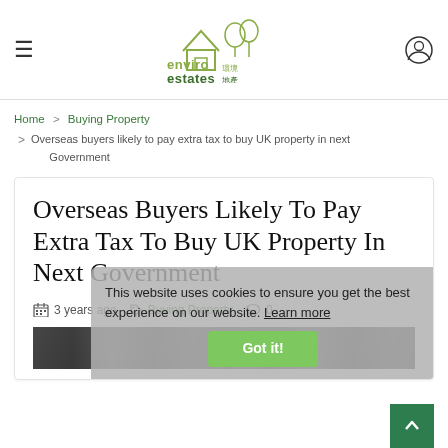[Figure (logo): Enviro Estates logo with house outline in olive/green and Chinese characters]
Enviro Estates — navigation header with hamburger menu and user icon
Home > Buying Property > Overseas buyers likely to pay extra tax to buy UK property in next Government
Overseas Buyers Likely To Pay Extra Tax To Buy UK Property In Next Government
3 years ago   Buying Property   0
This website uses cookies to ensure you get the best experience on our website. Learn more   Got it!
[Figure (photo): Street scene photo showing people in an urban area, partially visible at bottom]